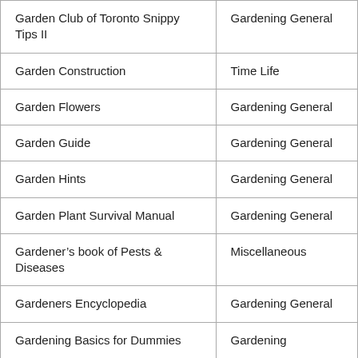| Title | Category |
| --- | --- |
| Garden Club of Toronto Snippy Tips II | Gardening General |
| Garden Construction | Time Life |
| Garden Flowers | Gardening General |
| Garden Guide | Gardening General |
| Garden Hints | Gardening General |
| Garden Plant Survival Manual | Gardening General |
| Gardener’s book of Pests & Diseases | Miscellaneous |
| Gardeners Encyclopedia | Gardening General |
| Gardening Basics for Dummies | Gardening |